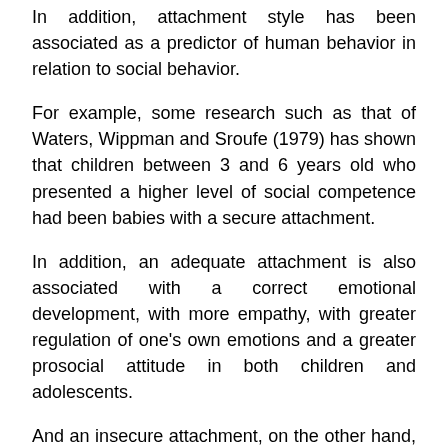In addition, attachment style has been associated as a predictor of human behavior in relation to social behavior.
For example, some research such as that of Waters, Wippman and Sroufe (1979) has shown that children between 3 and 6 years old who presented a higher level of social competence had been babies with a secure attachment.
In addition, an adequate attachment is also associated with a correct emotional development, with more empathy, with greater regulation of one's own emotions and a greater prosocial attitude in both children and adolescents.
And an insecure attachment, on the other hand, is related to more aggressive behavior and hostility as children grow older..
The functions of attachment are diverse and broad. This